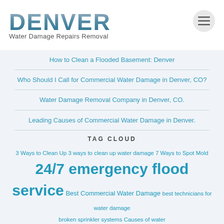[Figure (logo): Denver Water Damage Repairs Removal logo with large DENVER text in blue-gray gradient and subtitle]
How to Clean a Flooded Basement: Denver
Who Should I Call for Commercial Water Damage in Denver, CO?
Water Damage Removal Company in Denver, CO.
Leading Causes of Commercial Water Damage in Denver.
TAG CLOUD
3 Ways to Clean Up 3 ways to clean up water damage 7 Ways to Spot Mold 24/7 emergency flood service Best Commercial Water Damage best technicians for water damage broken sprinkler systems Causes of water damage